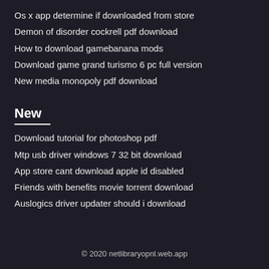Os x app determine if downloaded from store
Demon of disorder cockrell pdf download
How to download gamebanana mods
Download game grand turismo 6 pc full version
New media monopoly pdf download
New
Download tutorial for photoshop pdf
Mtp usb driver windows 7 32 bit download
App store cant download apple id disabled
Friends with benefits movie torrent download
Auslogics driver updater should i download
© 2020 netlibraryopnl.web.app